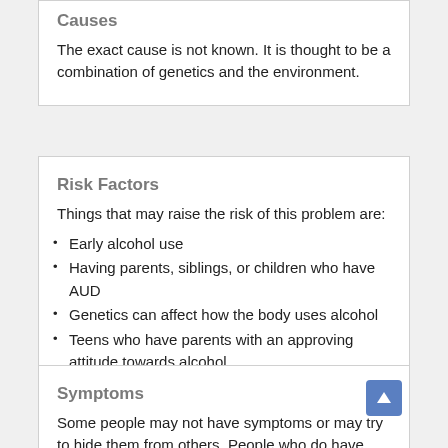Causes
The exact cause is not known. It is thought to be a combination of genetics and the environment.
Risk Factors
Things that may raise the risk of this problem are:
Early alcohol use
Having parents, siblings, or children who have AUD
Genetics can affect how the body uses alcohol
Teens who have parents with an approving attitude towards alcohol
Symptoms
Some people may not have symptoms or may try to hide them from others. People who do have symptoms may have:
Problems with relationships